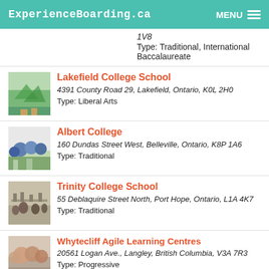ExperienceBoarding.ca
1V8
Type: Traditional, International Baccalaureate
Lakefield College School
4391 County Road 29, Lakefield, Ontario, K0L 2H0
Type: Liberal Arts
Albert College
160 Dundas Street West, Belleville, Ontario, K8P 1A6
Type: Traditional
Trinity College School
55 Deblaquire Street North, Port Hope, Ontario, L1A 4K7
Type: Traditional
Whytecliff Agile Learning Centres
20561 Logan Ave., Langley, British Columbia, V3A 7R3
Type: Progressive